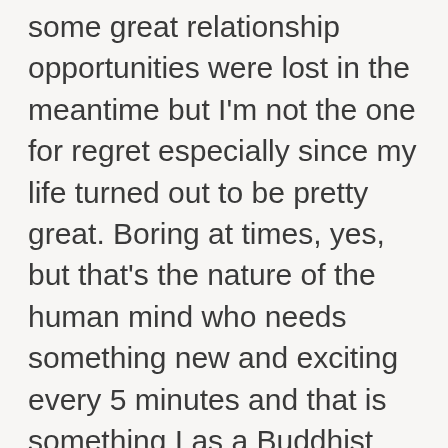some great relationship opportunities were lost in the meantime but I'm not the one for regret especially since my life turned out to be pretty great. Boring at times, yes, but that's the nature of the human mind who needs something new and exciting every 5 minutes and that is something I as a Buddhist have to keep in mind that my ego plays tricks on me.
It's always trying to lure us in unknown adventures of which we really deep down know of that it is not going to work out or be good for us. But hey it tried…and if we are not watchful we might run along forever or for a while before we shake loose hoping we didn't damage anything really meaningful to